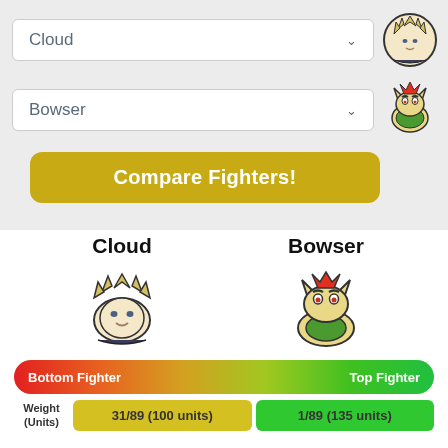[Figure (screenshot): Dropdown selector showing 'Cloud' with chevron and Cloud character icon to the right]
[Figure (screenshot): Dropdown selector showing 'Bowser' with chevron and Bowser character icon to the right]
Compare Fighters!
Cloud
Bowser
[Figure (illustration): Cloud character icon (large)]
[Figure (illustration): Bowser character icon (large)]
Bottom Fighter
Top Fighter
| Weight (Units) | Cloud | Bowser |
| --- | --- | --- |
| Weight
(Units) | 31/89 (100 units) | 1/89 (135 units) |